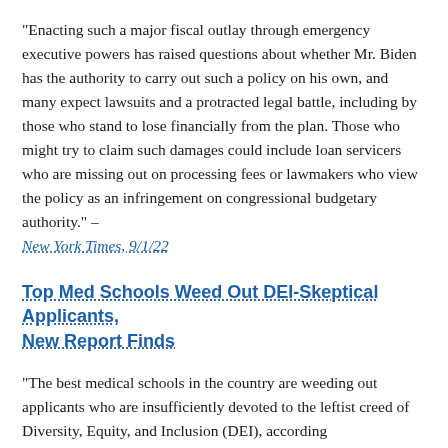"Enacting such a major fiscal outlay through emergency executive powers has raised questions about whether Mr. Biden has the authority to carry out such a policy on his own, and many expect lawsuits and a protracted legal battle, including by those who stand to lose financially from the plan. Those who might try to claim such damages could include loan servicers who are missing out on processing fees or lawmakers who view the policy as an infringement on congressional budgetary authority." – New York Times, 9/1/22
Top Med Schools Weed Out DEI-Skeptical Applicants, New Report Finds
"The best medical schools in the country are weeding out applicants who are insufficiently devoted to the leftist creed of Diversity, Equity, and Inclusion (DEI), according